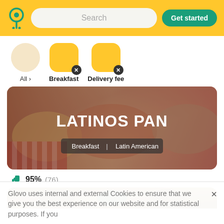[Figure (screenshot): Glovo app header with yellow background, location pin logo, search box, and Get started button]
[Figure (infographic): Filter row with All, Breakfast (active), Delivery fee (active) filter pills with orange circles and X buttons]
[Figure (photo): Latinos Pan restaurant card with food photo background showing sandwiches and wraps]
LATINOS PAN
Breakfast | Latin American
95% (76)
[Figure (photo): Second restaurant card preview showing coffee cups]
Glovo uses internal and external Cookies to ensure that we give you the best experience on our website and for statistical purposes. If you